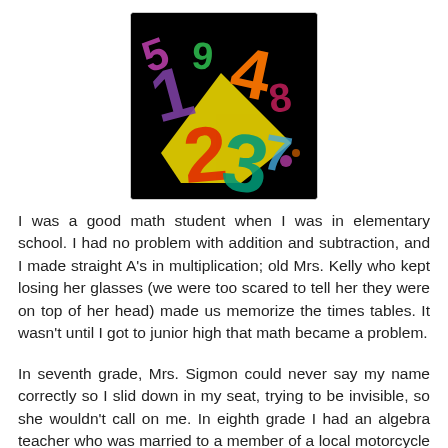[Figure (illustration): Colorful illustrated numbers (1, 2, 3, 4 and others) in bright colors on a black background, arranged in a collage style.]
I was a good math student when I was in elementary school. I had no problem with addition and subtraction, and I made straight A's in multiplication; old Mrs. Kelly who kept losing her glasses (we were too scared to tell her they were on top of her head) made us memorize the times tables. It wasn't until I got to junior high that math became a problem.
In seventh grade, Mrs. Sigmon could never say my name correctly so I slid down in my seat, trying to be invisible, so she wouldn't call on me. In eighth grade I had an algebra teacher who was married to a member of a local motorcycle gang. Mrs. Lawson came to school bruised and bleeding on many days; there were rumors about her husband's abusive behavior. And although she was sweet and really tried to